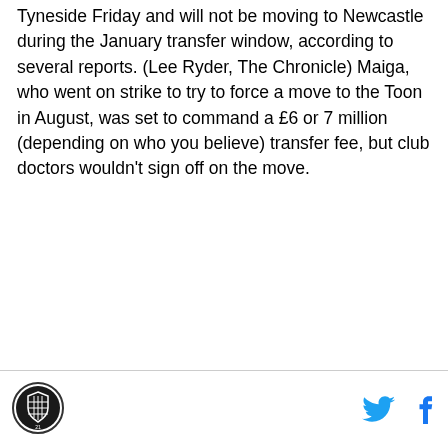Tyneside Friday and will not be moving to Newcastle during the January transfer window, according to several reports. (Lee Ryder, The Chronicle) Maiga, who went on strike to try to force a move to the Toon in August, was set to command a £6 or 7 million (depending on who you believe) transfer fee, but club doctors wouldn't sign off on the move.
[Figure (logo): Circular black and white sports logo]
[Figure (illustration): Twitter bird icon in blue and Facebook f icon in blue — social media share buttons]